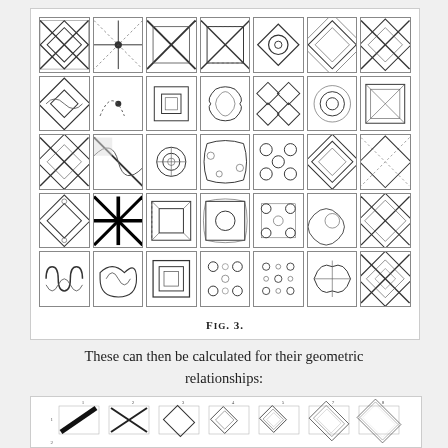[Figure (illustration): Grid of 35 decorative geometric tile patterns arranged in 5 rows and 7 columns, showing various ornamental designs with diamonds, circles, curves, and interlocking shapes.]
FIG. 3.
These can then be calculated for their geometric relationships:
[Figure (illustration): Lower grid showing geometric relationship calculations between tile patterns, with numbered rows and columns (1-8) and row numbers (1, 2, 3), containing tile pattern variants showing geometric progressions.]